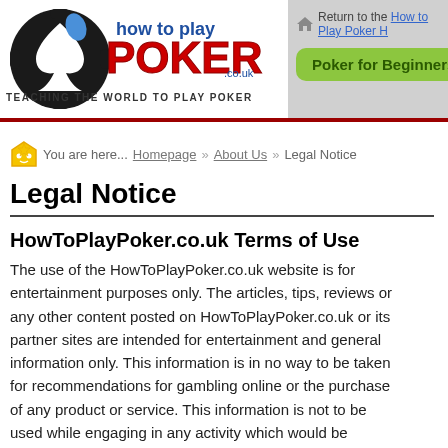[Figure (logo): HowToPlayPoker.co.uk logo with spade and puzzle piece graphic, text 'how to play POKER .co.uk' and tagline 'TEACHING THE WORLD TO PLAY POKER']
Return to the How to Play Poker H...
Poker for Beginners
You are here... Homepage » About Us » Legal Notice
Legal Notice
HowToPlayPoker.co.uk Terms of Use
The use of the HowToPlayPoker.co.uk website is for entertainment purposes only. The articles, tips, reviews or any other content posted on HowToPlayPoker.co.uk or its partner sites are intended for entertainment and general information only. This information is in no way to be taken for recommendations for gambling online or the purchase of any product or service. This information is not to be used while engaging in any activity which would be deemed illegal